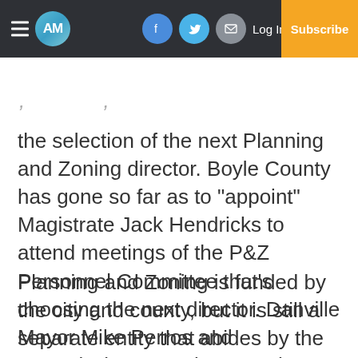AM | Log In | Subscribe
the selection of the next Planning and Zoning director. Boyle County has gone so far as to “appoint” Magistrate Jack Hendricks to attend meetings of the P&Z Personnel Committee that’s choosing the next director. Danville Mayor Mike Perros and Commissioner Denise Terry have slammed the agency for closing on Fridays, saying it sends the wrong message.
Planning and Zoning is funded by the city and county, but it is still a separate entity that abides by the ordinances that created it. This gives P&Z a level